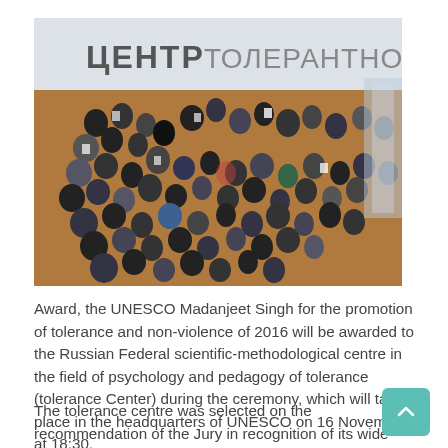[Figure (photo): Aerial/overhead view of a large group of people seated in an auditorium or hall. A banner in the background reads 'ЦЕНТР ТОЛЕРАНТНОСТИ' (Tolerance Center) in Cyrillic. The room has a wooden floor. Dozens of attendees are visible from above.]
Award, the UNESCO Madanjeet Singh for the promotion of tolerance and non-violence of 2016 will be awarded to the Russian Federal scientific-methodological centre in the field of psychology and pedagogy of tolerance (tolerance Center) during the ceremony, which will take place in the headquarters of UNESCO on 16 November at 18:30.
The tolerance centre was selected on the recommendation of the Jury in recognition of its wide